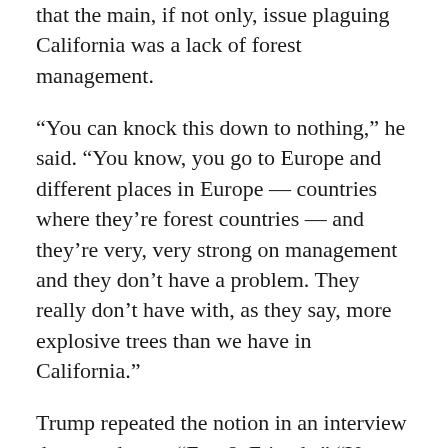that the main, if not only, issue plaguing California was a lack of forest management.
“You can knock this down to nothing,” he said. “You know, you go to Europe and different places in Europe — countries where they’re forest countries — and they’re very, very strong on management and they don’t have a problem. They really don’t have with, as they say, more explosive trees than we have in California.”
Trump repeated the notion in an interview the next day on “Fox & Friends.” “You have forests all over the world. You don’t have fires like you do in California,” he said. “In Europe, they have forest cities. You look at countries, Austria, you look at so many countries, they live in the forest, they consider forest cities so many of them, and they don’t have fires like this, and they have more explosive trees. They have trees that will catch